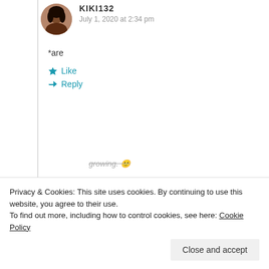KIKI132
July 1, 2020 at 2:34 pm
*are
Like
Reply
True Living
July 1, 2020 at 2:35 pm
Privacy & Cookies: This site uses cookies. By continuing to use this website, you agree to their use.
To find out more, including how to control cookies, see here: Cookie Policy
Close and accept